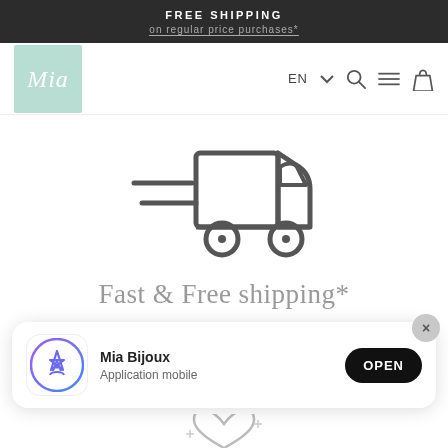FREE SHIPPING
on regular price purchases*
[Figure (logo): Mia Bijoux logo — mint green square with cursive white Mia script]
[Figure (illustration): Line-art delivery truck icon with speed lines, facing right]
Fast & Free shipping*
[Figure (infographic): App install banner: App Store icon, Mia Bijoux / Application mobile, OPEN button, X close button]